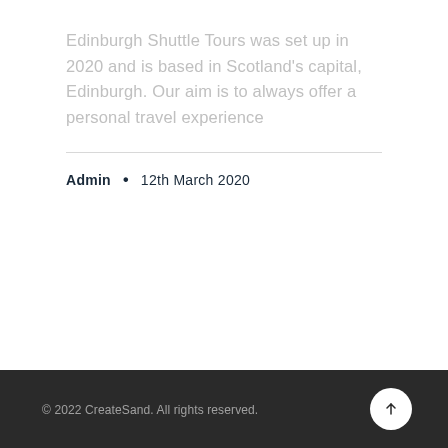Edinburgh Shuttle Tours was set up in 2020 and is based in Scotland's capital, Edinburgh. Our aim is to always offer a personal travel experience
Admin • 12th March 2020
© 2022 CreateSand. All rights reserved.